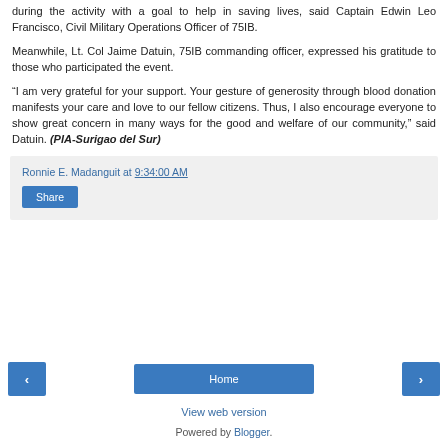during the activity with a goal to help in saving lives, said Captain Edwin Leo Francisco, Civil Military Operations Officer of 75IB.
Meanwhile, Lt. Col Jaime Datuin, 75IB commanding officer, expressed his gratitude to those who participated the event.
“I am very grateful for your support. Your gesture of generosity through blood donation manifests your care and love to our fellow citizens. Thus, I also encourage everyone to show great concern in many ways for the good and welfare of our community,” said Datuin. (PIA-Surigao del Sur)
Ronnie E. Madanguit at 9:34:00 AM
Share
Home
View web version
Powered by Blogger.